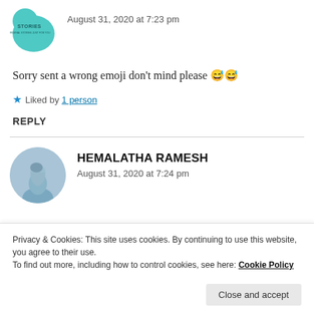[Figure (logo): Circular avatar with teal blob shape and text 'STORIES' inside]
August 31, 2020 at 7:23 pm
Sorry sent a wrong emoji don't mind please 😅😅
★ Liked by 1 person
REPLY
[Figure (photo): Circular avatar photo of a person, blue sky background]
HEMALATHA RAMESH
August 31, 2020 at 7:24 pm
Privacy & Cookies: This site uses cookies. By continuing to use this website, you agree to their use.
To find out more, including how to control cookies, see here: Cookie Policy
Close and accept